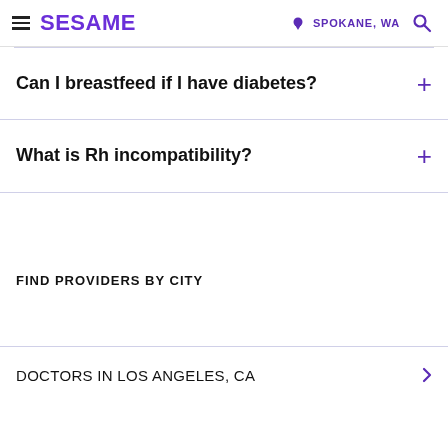SESAME  SPOKANE, WA
Can I breastfeed if I have diabetes?
What is Rh incompatibility?
FIND PROVIDERS BY CITY
DOCTORS IN LOS ANGELES, CA